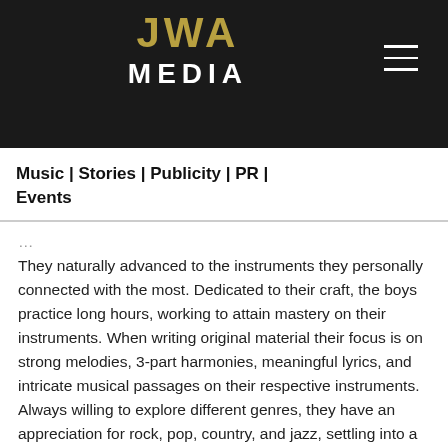[Figure (logo): JWA Media logo on black background with hamburger menu icon]
Music | Stories | Publicity | PR | Events
They naturally advanced to the instruments they personally connected with the most. Dedicated to their craft, the boys practice long hours, working to attain mastery on their instruments. When writing original material their focus is on strong melodies, 3-part harmonies, meaningful lyrics, and intricate musical passages on their respective instruments. Always willing to explore different genres, they have an appreciation for rock, pop, country, and jazz, settling into a sound that blends their musical influences. Along with music, all three brothers are enthusiastic flag football players and fans of both CFL and the NFL, with a nod to this passion in their